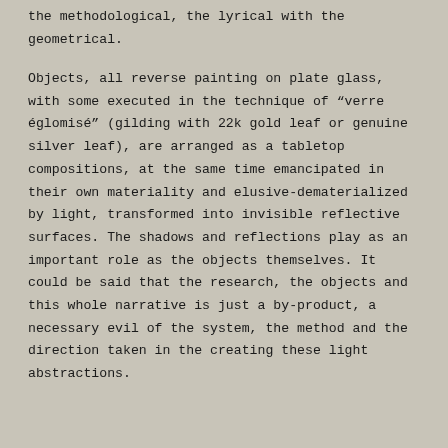the methodological, the lyrical with the geometrical.
Objects, all reverse painting on plate glass, with some executed in the technique of “verre églomisé” (gilding with 22k gold leaf or genuine silver leaf), are arranged as a tabletop compositions, at the same time emancipated in their own materiality and elusive-dematerialized by light, transformed into invisible reflective surfaces. The shadows and reflections play as an important role as the objects themselves. It could be said that the research, the objects and this whole narrative is just a by-product, a necessary evil of the system, the method and the direction taken in the creating these light abstractions.